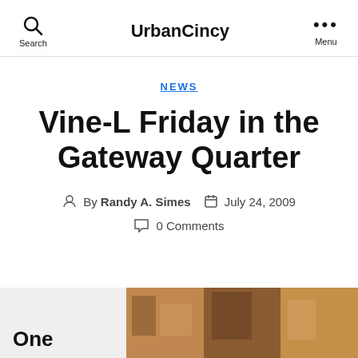UrbanCincy
NEWS
Vine-L Friday in the Gateway Quarter
By Randy A. Simes  July 24, 2009  0 Comments
[Figure (photo): Partial view of a photo showing urban/architectural scene in warm tones, partially visible at bottom of page]